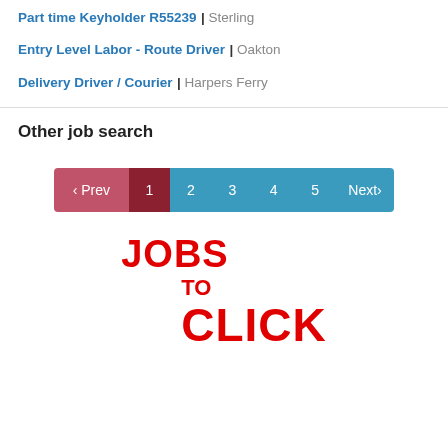Part time Keyholder R55239 | Sterling
Entry Level Labor - Route Driver | Oakton
Delivery Driver / Courier | Harpers Ferry
Other job search
[Figure (other): Pagination bar with < Prev, 1 (current), 2, 3, 4, 5, Next> buttons]
[Figure (logo): JOBS TO CLICK logo in large bold red text]